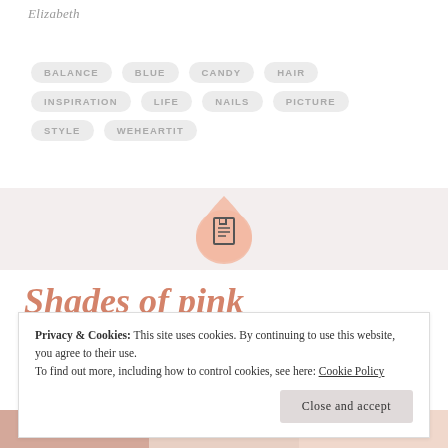Elizabeth
BALANCE
BLUE
CANDY
HAIR
INSPIRATION
LIFE
NAILS
PICTURE
STYLE
WEHEARTIT
[Figure (illustration): A peach/salmon colored teardrop or droplet shape with a document/page icon in the center, dark outline icon on peach background]
Shades of pink
Privacy & Cookies: This site uses cookies. By continuing to use this website, you agree to their use.
To find out more, including how to control cookies, see here: Cookie Policy
Close and accept
[Figure (photo): Bottom image strip showing pink-toned photo content]